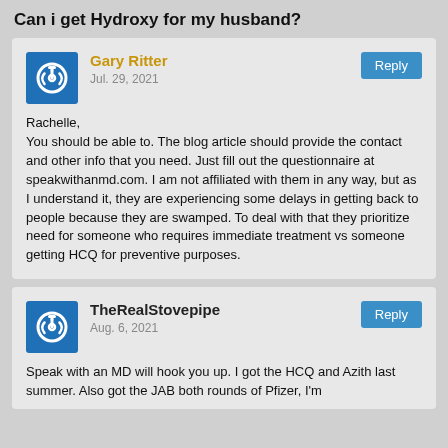Can i get Hydroxy for my husband?
Gary Ritter
Jul. 29, 2021

Rachelle,
You should be able to. The blog article should provide the contact and other info that you need. Just fill out the questionnaire at speakwithanmd.com. I am not affiliated with them in any way, but as I understand it, they are experiencing some delays in getting back to people because they are swamped. To deal with that they prioritize need for someone who requires immediate treatment vs someone getting HCQ for preventive purposes.
TheRealStovepipe
Aug. 6, 2021

Speak with an MD will hook you up. I got the HCQ and Azith last summer. Also got the JAB both rounds of Pfizer, I'm